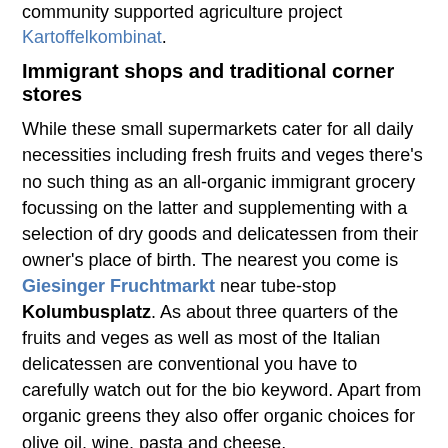community supported agriculture project Kartoffelkombinat.
Immigrant shops and traditional corner stores
While these small supermarkets cater for all daily necessities including fresh fruits and veges there's no such thing as an all-organic immigrant grocery focussing on the latter and supplementing with a selection of dry goods and delicatessen from their owner's place of birth. The nearest you come is Giesinger Fruchtmarkt near tube-stop Kolumbusplatz. As about three quarters of the fruits and veges as well as most of the Italian delicatessen are conventional you have to carefully watch out for the bio keyword. Apart from organic greens they also offer organic choices for olive oil, wine, pasta and cheese.
[Figure (photo): Exterior photo of a building with green-patterned facade, a balcony visible on the left, and a metal awning/canopy structure extending from the storefront on the right side.]